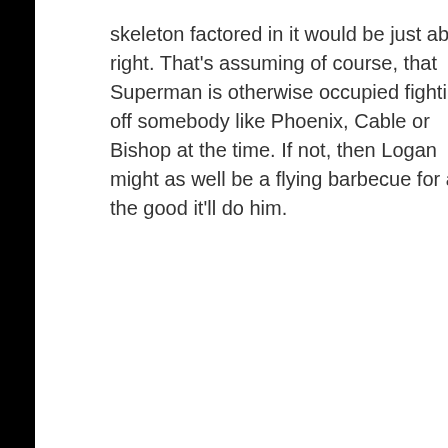skeleton factored in it would be just about right. That's assuming of course, that Superman is otherwise occupied fighting off somebody like Phoenix, Cable or Bishop at the time. If not, then Logan might as well be a flying barbecue for all the good it'll do him.
Vincent says:
May 31, 2011 at 2:52 pm
Well if we go with the
Search for
Mac OS Download
Create Character Online